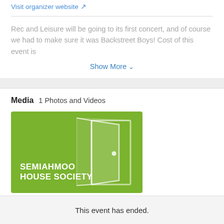Visit organizer website ↗
Rec and Leisure will be going to its first concert, and of course we had to make sure it was Backstreet Boys! Cost of this event is
Show More ∨
Media   1 Photos and Videos
[Figure (logo): Green rectangle logo with white text reading SEMIAHMOO HOUSE SOCIETY and a white open door icon on the right side]
This event has ended.